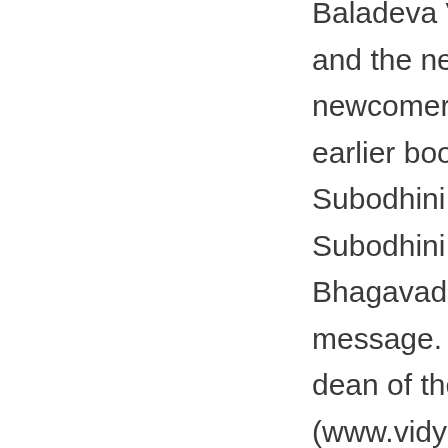Baladeva Vidyabhushana, thus catering for the taste and the needs of avid readers, scholars and newcomers. Following a similar style like that of his earlier books Bhagavata Subodhini and Caitanya Subodhini, Gauranga Darshan Das presents Gita Subodhini for easy readability and assimilation of the Bhagavad-gita and delight in the splendor of its message. About Author : -  Gauranga Darshan Das is dean of the Bhaktivedanta Vidyapitha (www.vidyapitha.in) at ISKCON Govardhan Eco Village (GEV). He teaches scriptural courses at several